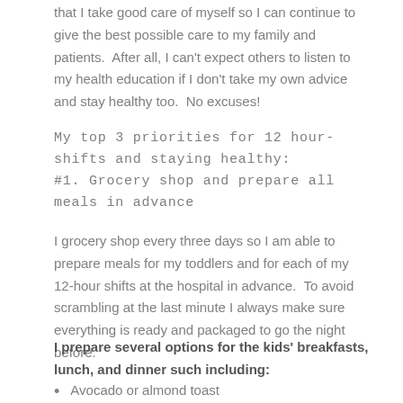that I take good care of myself so I can continue to give the best possible care to my family and patients.  After all, I can't expect others to listen to my health education if I don't take my own advice and stay healthy too.  No excuses!
My top 3 priorities for 12 hour-shifts and staying healthy:
#1. Grocery shop and prepare all meals in advance
I grocery shop every three days so I am able to prepare meals for my toddlers and for each of my 12-hour shifts at the hospital in advance.  To avoid scrambling at the last minute I always make sure everything is ready and packaged to go the night before.
I prepare several options for the kids' breakfasts, lunch, and dinner such including:
Avocado or almond toast